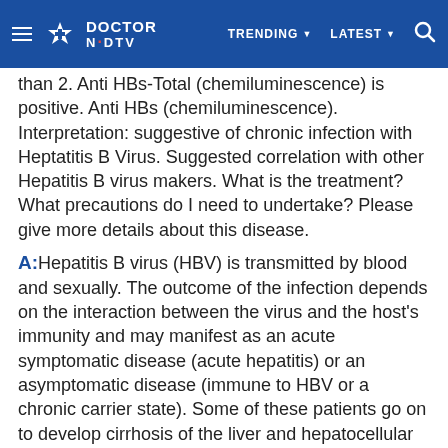Doctor NDTV — TRENDING | LATEST | Search
than 2. Anti HBs-Total (chemiluminescence) is positive. Anti HBs (chemiluminescence). Interpretation: suggestive of chronic infection with Heptatitis B Virus. Suggested correlation with other Hepatitis B virus makers. What is the treatment? What precautions do I need to undertake? Please give more details about this disease.
A: Hepatitis B virus (HBV) is transmitted by blood and sexually. The outcome of the infection depends on the interaction between the virus and the host's immunity and may manifest as an acute symptomatic disease (acute hepatitis) or an asymptomatic disease (immune to HBV or a chronic carrier state). Some of these patients go on to develop cirrhosis of the liver and hepatocellular carcinoma. Antiviral treatment is effective in about one third patient while liver transplant